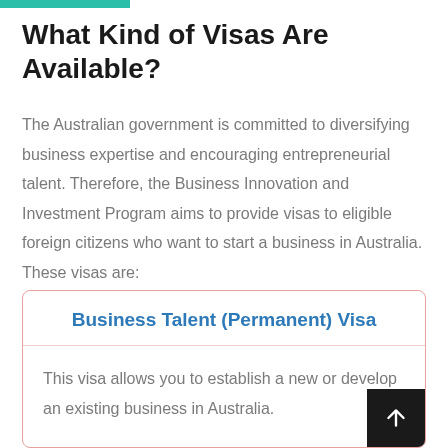What Kind of Visas Are Available?
The Australian government is committed to diversifying business expertise and encouraging entrepreneurial talent. Therefore, the Business Innovation and Investment Program aims to provide visas to eligible foreign citizens who want to start a business in Australia. These visas are:
Business Talent (Permanent) Visa
This visa allows you to establish a new or develop an existing business in Australia.